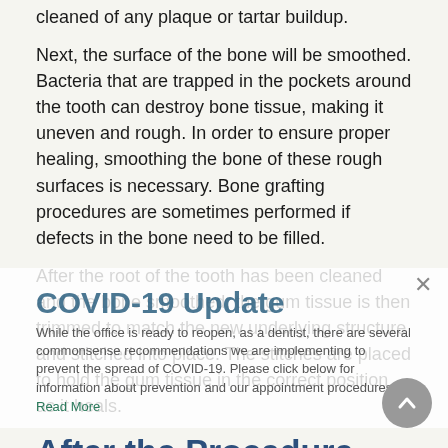cleaned of any plaque or tartar buildup.
Next, the surface of the bone will be smoothed. Bacteria that are trapped in the pockets around the tooth can destroy bone tissue, making it uneven and rough. In order to ensure proper healing, smoothing the bone of these rough surfaces is necessary. Bone grafting procedures are sometimes performed if defects in the bone need to be filled.
After the root of the tooth has been cleaned and the bone smoothed, the gum tissue is then trimmed to match the new underlying structure and stitched into place. The stitches are placed to hold the gum tissue in the correct position as it heals.
After the Procedure
After the procedure you may be prescribed a pain
COVID-19 Update
While the office is ready to reopen, as a dentist, there are several commonsense recommendations we are implementing to prevent the spread of COVID-19. Please click below for information about prevention and our appointment procedures.
Read More